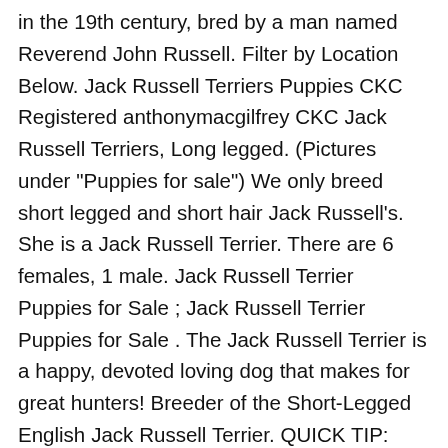(...) in the 19th century, bred by a man named Reverend John Russell. Filter by Location Below. Jack Russell Terriers Puppies CKC Registered anthonymacgilfrey CKC Jack Russell Terriers, Long legged. (Pictures under "Puppies for sale") We only breed short legged and short hair Jack Russell's. She is a Jack Russell Terrier. There are 6 females, 1 male. Jack Russell Terrier Puppies for Sale ; Jack Russell Terrier Puppies for Sale . The Jack Russell Terrier is a happy, devoted loving dog that makes for great hunters! Breeder of the Short-Legged English Jack Russell Terrier. QUICK TIP: Search for dogs closest to your area by changing the search location. Jack russell x foxie puppies for sale, currently 7 . Smooth coat half and full mask. Find Russell Terrier Puppies and Breeders in your area and helpful Russell Terrier information. The Jack Russell will be wary of strangers, but